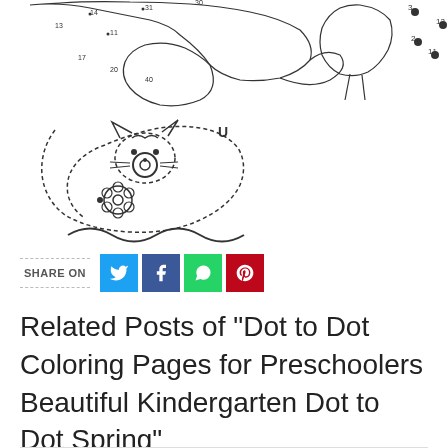[Figure (illustration): Dot-to-dot coloring pages showing dolphin and Hello Kitty style characters with numbered dots, dashed outlines, and a flower. Also visible are curved wave shapes at the bottom of the image area.]
SHARE ON
Related Posts of "Dot to Dot Coloring Pages for Preschoolers Beautiful Kindergarten Dot to Dot Spring"